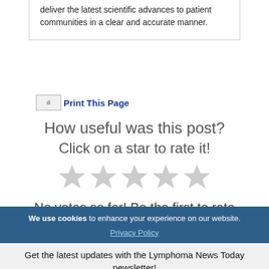deliver the latest scientific advances to patient communities in a clear and accurate manner.
[Figure (screenshot): Print Friendly, PDF & Email icon followed by 'Print This Page' link in dark blue bold text]
How useful was this post?
Click on a star to rate it!
[Figure (infographic): Five gray empty star rating icons]
No votes so far! Be the first to rate this post.
TAGGED HOLDEN COMPREHENSIVE CANCER CENTER,
We use cookies to enhance your experience on our website. Privacy Policy
Get the latest updates with the Lymphoma News Today newsletter!